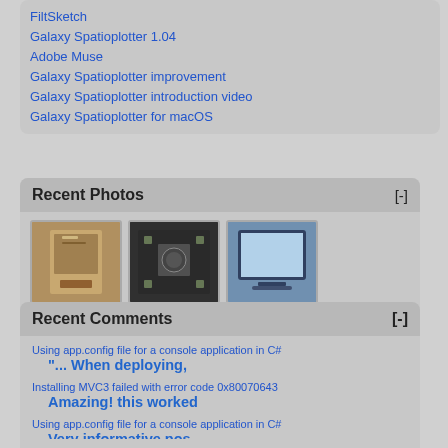FiltSketch
Galaxy Spatioplotter 1.04
Adobe Muse
Galaxy Spatioplotter improvement
Galaxy Spatioplotter introduction video
Galaxy Spatioplotter for macOS
Recent Photos [-]
[Figure (photo): Three thumbnail photos: a PC tower/case, a computer motherboard/CPU, and a computer monitor]
Recent Comments [-]
Using app.config file for a console application in C#
"... When deploying,
Installing MVC3 failed with error code 0x80070643
Amazing! this worked
Using app.config file for a console application in C#
Very informative pos
Zune wireless sync on Windows Server 2008
Thanks for the tip!